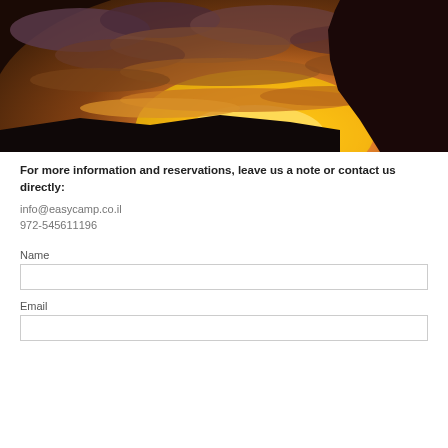[Figure (photo): Dramatic sunset landscape photo with golden and orange clouds in a dark sky, silhouetted rocky cliff on the right side.]
For more information and reservations, leave us a note or contact us directly:
info@easycamp.co.il
972-545611196
Name
Email